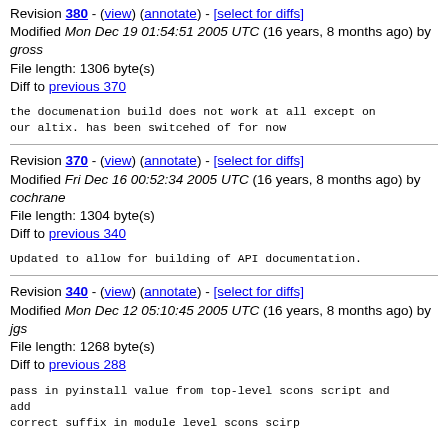Revision 380 - (view) (annotate) - [select for diffs]
Modified Mon Dec 19 01:54:51 2005 UTC (16 years, 8 months ago) by gross
File length: 1306 byte(s)
Diff to previous 370
the documenation build does not work at all except on our altix. has been switcehed of for now
Revision 370 - (view) (annotate) - [select for diffs]
Modified Fri Dec 16 00:52:34 2005 UTC (16 years, 8 months ago) by cochrane
File length: 1304 byte(s)
Diff to previous 340
Updated to allow for building of API documentation.
Revision 340 - (view) (annotate) - [select for diffs]
Modified Mon Dec 12 05:10:45 2005 UTC (16 years, 8 months ago) by jgs
File length: 1268 byte(s)
Diff to previous 288
pass in pyinstall value from top-level scons script and add
correct suffix in module level scons scirp